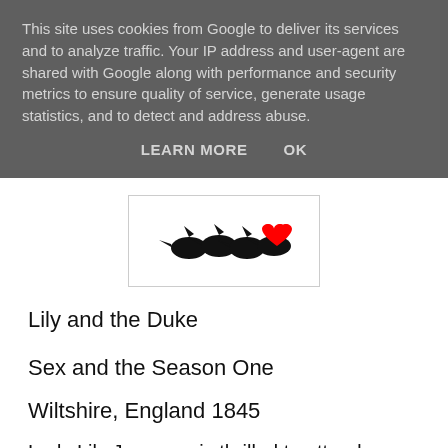This site uses cookies from Google to deliver its services and to analyze traffic. Your IP address and user-agent are shared with Google along with performance and security metrics to ensure quality of service, generate usage statistics, and to detect and address abuse.
LEARN MORE   OK
[Figure (illustration): Partial view of a book cover showing dark bird/raven silhouettes and a red heart shape on white background]
Lily and the Duke
Sex and the Season One
Wiltshire, England 1845
Lady Lily Jameson is thrilled to attend a house party given by Daniel Farnsworth, the Duke of  Lybrook, but not because he's the most eligible bachelor in the peerage. Her only interest is his famous art collection, which reputedly includes a painting by her favorite artist,